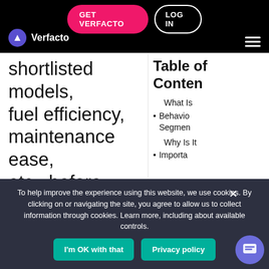GET VERFACTO | LOG IN | Verfacto
shortlisted models, fuel efficiency, maintenance ease, etc., before deciding.
Table of Contents
What Is
Behavioral Segmentation
Why Is It Important
To help improve the experience using this website, we use cookies. By clicking on or navigating the site, you agree to allow us to collect information through cookies. Learn more, including about available controls.
I'm OK with that
Privacy policy